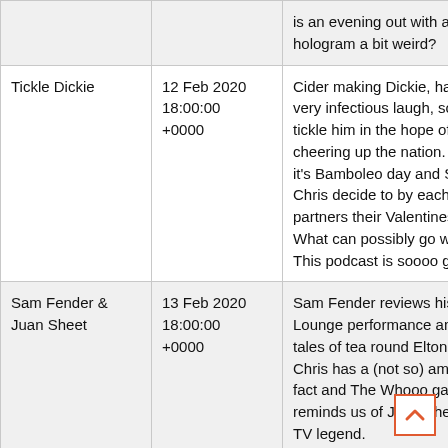| Title | Date | Description |
| --- | --- | --- |
|  |  | is an evening out with a hologram a bit weird? |
| Tickle Dickie | 12 Feb 2020
18:00:00
+0000 | Cider making Dickie, has a very infectious laugh, so we tickle him in the hope of cheering up the nation. Also, it's Bamboleo day and Scott & Chris decide to by each other's partners their Valentines gifts. What can possibly go wrong? This podcast is soooo good! |
| Sam Fender & Juan Sheet | 13 Feb 2020
18:00:00
+0000 | Sam Fender reviews his Live Lounge performance and tells tales of tea round Elton's. Plus, Chris has a (not so) amazing fact and The Whooo game reminds us of Juan Sheet, a TV legend. |
|  |  | Lizzo is here to review her Live Lounge performance but Scott |